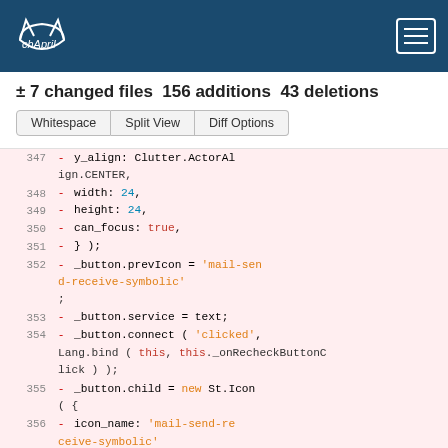chApril (logo) navigation bar
± 7 changed files 156 additions 43 deletions
Whitespace  Split View  Diff Options
347 - y_align: Clutter.ActorAlign.CENTER,
348 - width: 24,
349 - height: 24,
350 - can_focus: true,
351 - } );
352 - _button.prevIcon = 'mail-send-receive-symbolic';
353 - _button.service = text;
354 - _button.connect ( 'clicked', Lang.bind ( this, this._onRecheckButtonClick ) );
355 - _button.child = new St.Icon ( {
356 - icon_name: 'mail-send-receive-symbolic',
357 - ...